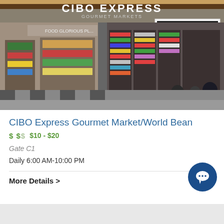[Figure (photo): Photo of CIBO Express Gourmet Market/World Bean store interior at an airport terminal, showing shelves with products, a worldbean sign, and customers browsing. CIBO EXPRESS GOURMET MARKETS sign visible at top.]
CIBO Express Gourmet Market/World Bean
$ $ $ $10 - $20
Gate C1
Daily 6:00 AM-10:00 PM
More Details >